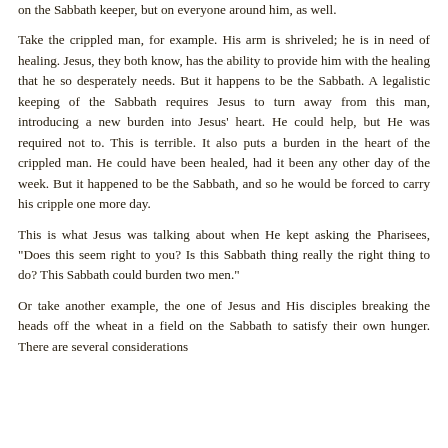on the Sabbath keeper, but on everyone around him, as well.
Take the crippled man, for example. His arm is shriveled; he is in need of healing. Jesus, they both know, has the ability to provide him with the healing that he so desperately needs. But it happens to be the Sabbath. A legalistic keeping of the Sabbath requires Jesus to turn away from this man, introducing a new burden into Jesus' heart. He could help, but He was required not to. This is terrible. It also puts a burden in the heart of the crippled man. He could have been healed, had it been any other day of the week. But it happened to be the Sabbath, and so he would be forced to carry his cripple one more day.
This is what Jesus was talking about when He kept asking the Pharisees, "Does this seem right to you? Is this Sabbath thing really the right thing to do? This Sabbath could burden two men."
Or take another example, the one of Jesus and His disciples breaking the heads off the wheat in a field on the Sabbath to satisfy their own hunger. There are several considerations